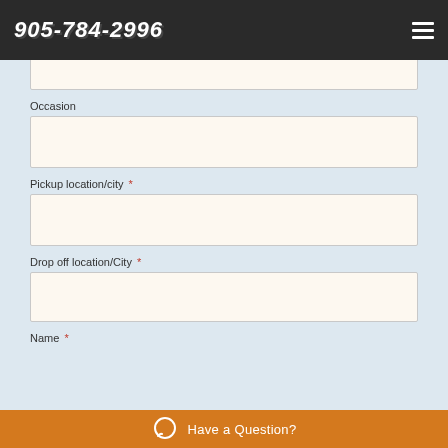905-784-2996
Occasion
Pickup location/city *
Drop off location/City *
Name *
Have a Question?